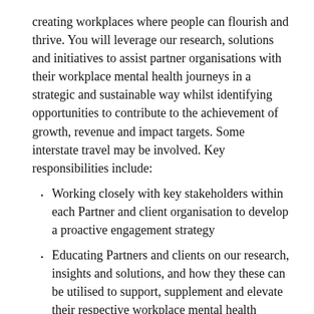creating workplaces where people can flourish and thrive. You will leverage our research, solutions and initiatives to assist partner organisations with their workplace mental health journeys in a strategic and sustainable way whilst identifying opportunities to contribute to the achievement of growth, revenue and impact targets. Some interstate travel may be involved. Key responsibilities include:
Working closely with key stakeholders within each Partner and client organisation to develop a proactive engagement strategy
Educating Partners and clients on our research, insights and solutions, and how they these can be utilised to support, supplement and elevate their respective workplace mental health frameworks
Actively building strong relationships and account plans with Partners and delivering excellence in customer service that promotes value, drives engagement and increases participation and impact